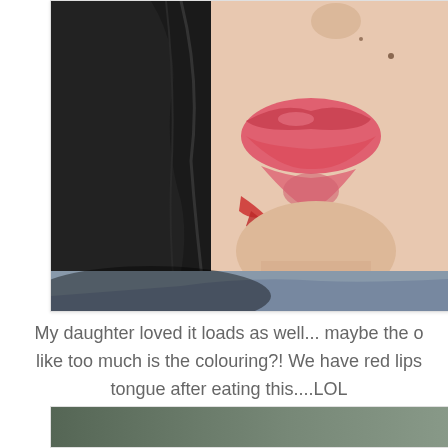[Figure (photo): Close-up photo of a girl/young woman with red lipstick/colouring smeared on her lips, chin and tongue, dark hair, wearing a light blue top, against a light green background.]
My daughter loved it loads as well... maybe the only thing she doesn't like too much is the colouring?! We have red lips and tongue after eating this....LOL
[Figure (photo): Partial view of another photo at the bottom of the page, mostly cut off, showing a dark/green scene.]